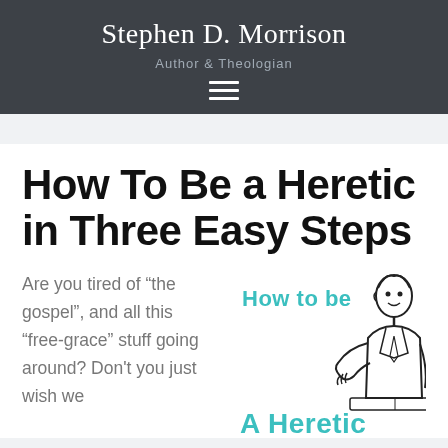Stephen D. Morrison
Author & Theologian
How To Be a Heretic in Three Easy Steps
Are you tired of “the gospel”, and all this “free-grace” stuff going around? Don't you just wish we
[Figure (illustration): Cartoon illustration of a man gesturing with text overlay reading 'How to be A Heretic' in teal/cyan color]